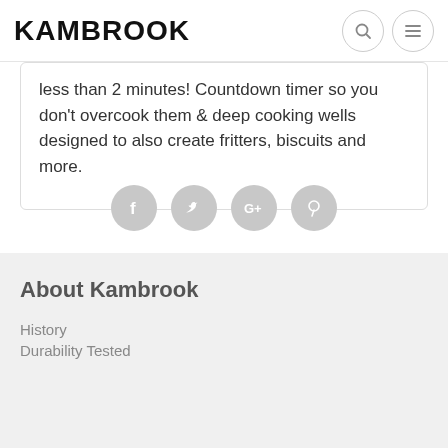KAMBROOK
less than 2 minutes! Countdown timer so you don't overcook them & deep cooking wells designed to also create fritters, biscuits and more.
[Figure (infographic): Social media share icons: Facebook, Twitter, Google+, Pinterest — gray circular icons]
About Kambrook
History
Durability Tested